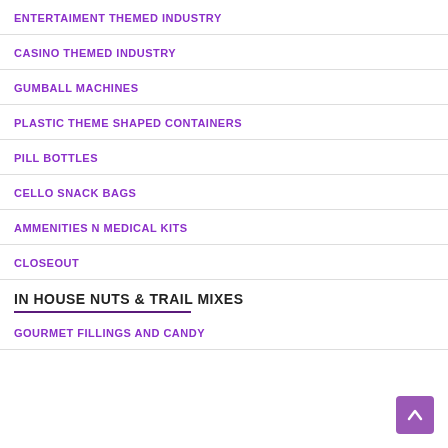ENTERTAIMENT THEMED INDUSTRY
CASINO THEMED INDUSTRY
GUMBALL MACHINES
PLASTIC THEME SHAPED CONTAINERS
PILL BOTTLES
CELLO SNACK BAGS
AMMENITIES N MEDICAL KITS
CLOSEOUT
IN HOUSE NUTS & TRAIL MIXES
GOURMET FILLINGS AND CANDY